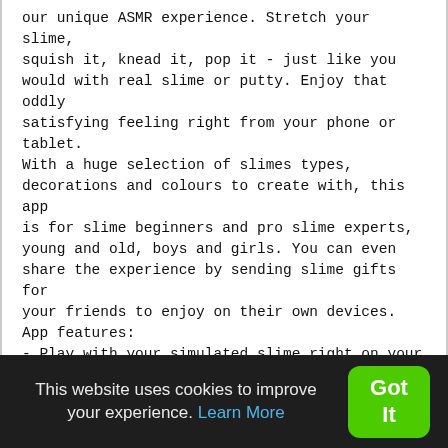our unique ASMR experience. Stretch your slime, squish it, knead it, pop it - just like you would with real slime or putty. Enjoy that oddly satisfying feeling right from your phone or tablet.
With a huge selection of slimes types, decorations and colours to create with, this app is for slime beginners and pro slime experts, young and old, boys and girls. You can even share the experience by sending slime gifts for your friends to enjoy on their own devices.
App features:
- Play with your simulated slime right on your phone.
- Realistic slime simulation: play with your simulated creations - just like with real slime!
- Relieve stress and discover our one of a kind ASMR experience.
- DIY. Create your very own slime. Choose from a
This website uses cookies to improve your experience. Learn More
Got It